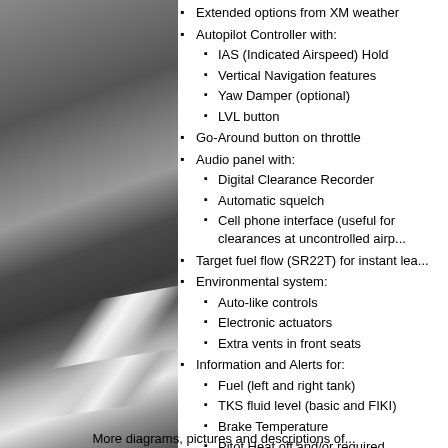[Figure (photo): Black and white photograph of aircraft wing/fuselage from aerial perspective]
Extended options from XM weather
Autopilot Controller with:
IAS (Indicated Airspeed) Hold
Vertical Navigation features
Yaw Damper (optional)
LVL button
Go-Around button on throttle
Audio panel with:
Digital Clearance Recorder
Automatic squelch
Cell phone interface (useful for clearances at uncontrolled airp...
Target fuel flow (SR22T) for instant lea...
Environmental system:
Auto-like controls
Electronic actuators
Extra vents in front seats
Information and Alerts for:
Fuel (left and right tank)
TKS fluid level (basic and FIKI)
Brake Temperature
Pitot Heat off and/or required
More diagrams, pictures and descriptions of...